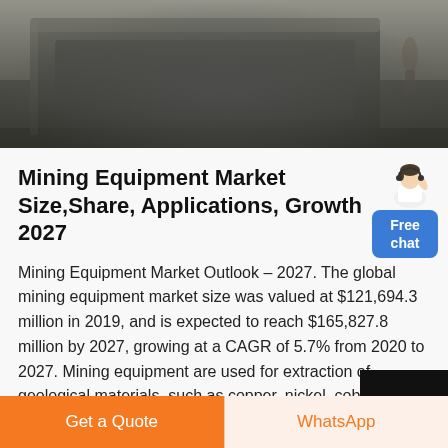[Figure (photo): Large industrial mining equipment photographed outdoors, shown in grey/dark tones, cropped view of heavy machinery]
Mining Equipment Market Size,Share, Applications, Growth 2027
Mining Equipment Market Outlook – 2027. The global mining equipment market size was valued at $121,694.3 million in 2019, and is expected to reach $165,827.8 million by 2027, growing at a CAGR of 5.7% from 2020 to 2027. Mining equipment are used for extraction of geological materials, such as copper, nickel, cobalt, gold, silver, lead, zinc ...
Get a Quote
WhatsApp